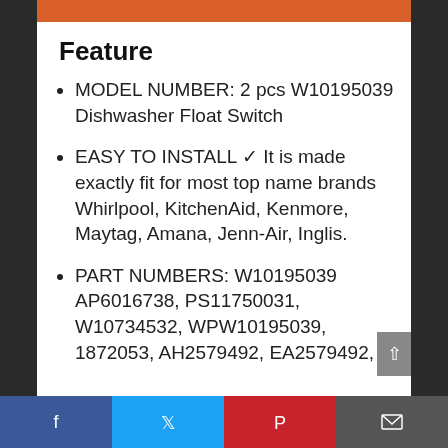Feature
MODEL NUMBER: 2 pcs W10195039 Dishwasher Float Switch
EASY TO INSTALL ✓ It is made exactly fit for most top name brands Whirlpool, KitchenAid, Kenmore, Maytag, Amana, Jenn-Air, Inglis.
PART NUMBERS: W10195039 AP6016738, PS11750031, W10734532, WPW10195039, 1872053, AH2579492, EA2579492,
Facebook | Twitter | Pinterest | Email